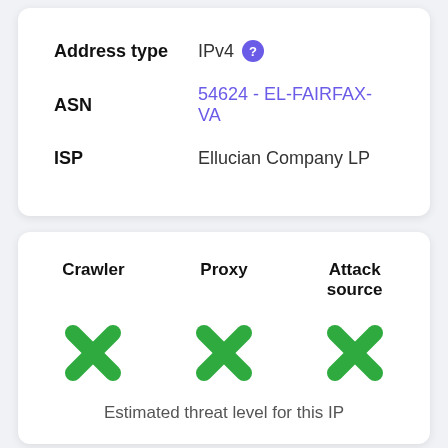Address type  IPv4 ?
ASN  54624 - EL-FAIRFAX-VA
ISP  Ellucian Company LP
Crawler   Proxy   Attack source
[Figure (infographic): Three green X marks indicating Crawler, Proxy, and Attack source status]
Estimated threat level for this IP